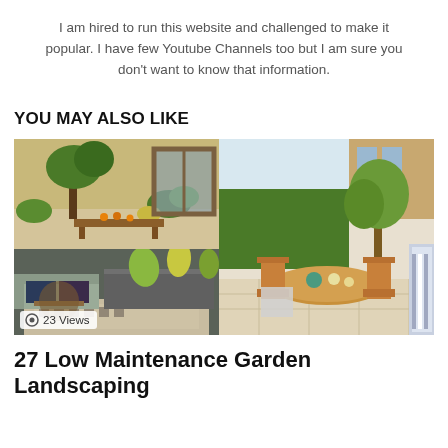I am hired to run this website and challenged to make it popular. I have few Youtube Channels too but I am sure you don't want to know that information.
YOU MAY ALSO LIKE
[Figure (photo): Two-column image grid showing garden landscaping photos: top-left shows a lush green garden with trees and plants near a glass door; bottom-left shows an outdoor seating area with sofas and patterned rug; right shows a wooden patio dining set with chairs and greenery backdrop. A '23 Views' badge appears on the bottom-left image.]
27 Low Maintenance Garden Landscaping